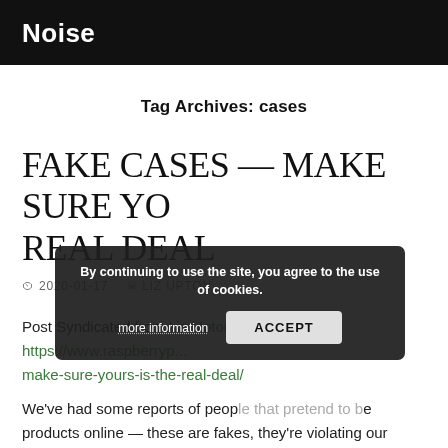Noise
Tag Archives: cases
FAKE CASES — MAKE SURE YOUR'S IS THE REAL DEAL
2020-01-17  LIZ UPTON
Post Syndicated from Liz Upton original https://www.raspberrypi.org/blog/fake-cases-make-sure-yours-is-the-real-deal/
By continuing to use the site, you agree to the use of cookies. more information  ACCEPT
We've had some reports of people selling products online — these are fakes, they're violating our trademark as well, and they're costing you and us money that would otherwise